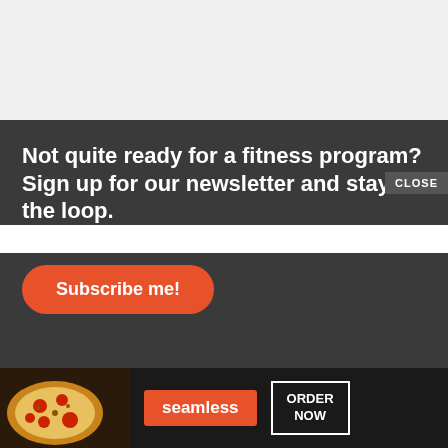[Figure (other): Light gray top section background area]
Not quite ready for a fitness program? Sign up for our newsletter and stay in the loop.
Subscribe me!
Our Fitness Programs  Purchase a Program  About Fit For Trips  Why Fit For Trips  Partners  Blog  Privacy Policy  Contact Us  Press Room  Common Questions
© 2009-2... y of their respectiv...
[Figure (other): Seamless food delivery advertisement banner with pizza image, Seamless logo, and ORDER NOW button]